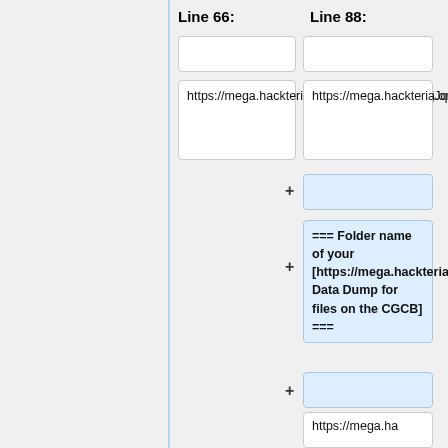Line 66:
Line 88:
https://mega.hackteria.org/index.php/s/bpwxjJqCzNCwcr6
https://mega.hackteria.org/index.php/s/bpwxjJqCzNCwcr6
=== Folder name of your [https://mega.hackteria.org/index.php/s/tWbmPQHAxkPWftG Data Dump for files on the CGCB] ===
https://mega.ha